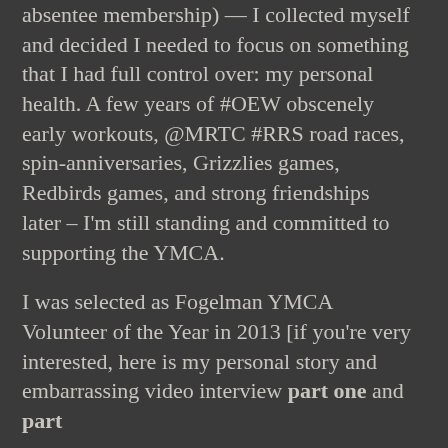absentee membership) — I collected myself and decided I needed to focus on something that I had full control over: my personal health. A few years of #OEW obscenely early workouts, @MRTC #RRS road races, spin-anniversaries, Grizzlies games, Redbirds games, and strong friendships later – I'm still standing and committed to supporting the YMCA.
I was selected as Fogelman YMCA Volunteer of the Year in 2013 [if you're very interested, here is my personal story and embarrassing video interview part one and part